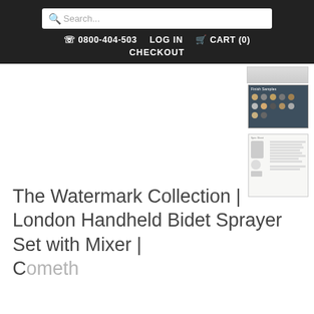Search... | ☎ 0800-404-503 | LOG IN | CART (0) | CHECKOUT
[Figure (screenshot): Small thumbnail image at top right (partially visible), appearing to be a product image stub]
[Figure (photo): Thumbnail showing a color swatch chart on dark background with multiple colored dots in a grid pattern]
[Figure (schematic): Thumbnail showing a product diagram/specification sheet with text and component illustrations]
The Watermark Collection | London Handheld Bidet Sprayer Set with Mixer | Something...